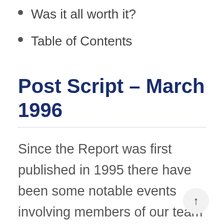Was it all worth it?
Table of Contents
Post Script – March 1996
Since the Report was first published in 1995 there have been some notable events involving members of our team and those of teams that